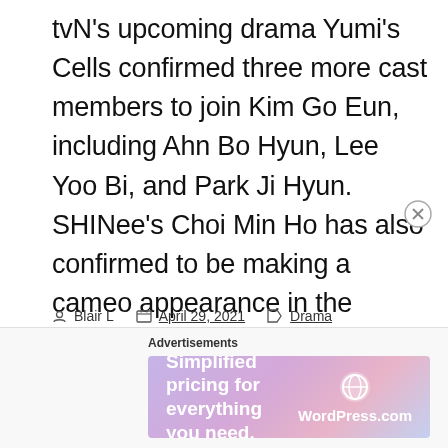tvN's upcoming drama Yumi's Cells confirmed three more cast members to join Kim Go Eun, including Ahn Bo Hyun, Lee Yoo Bi, and Park Ji Hyun. SHINee's Choi Min Ho has also confirmed to be making a cameo appearance in the drama as Woo Gi. Woo Gi is a colleague of Yumi whom she has [...]
Blair L  |  April 29, 2021  |  Drama
2021 Drama, Ahn Bo Hyun, Choi Min Ho (SHINee), Drama, Kim Go Eun, Lee Yoo Bi, Park Ji Hyun, tvN
[Figure (other): Advertisement banner: Simplified pricing for everything you need. WordPress.com with gradient purple-pink background.]